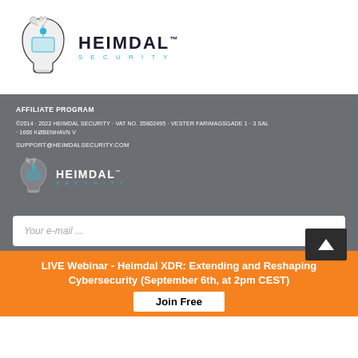[Figure (logo): Heimdal Security logo with helmet icon and HEIMDAL SECURITY wordmark in dark/cyan colors]
AFFILIATE PROGRAM
©2014 · 2022 HEIMDAL SECURITY · VAT NO. 35802495 · VESTER FARIMAGSGADE 1 · 3 SAL · 1606 KØBENHAVN V
SUPPORT@HEIMDALSECURITY.COM
[Figure (logo): Heimdal Security logo with helmet icon and HEIMDAL SECURITY wordmark in white/cyan colors on grey background]
Your e-mail ...
LIVE Webinar - Heimdal XDR: Extending and Reshaping Cybersecurity (September 6th, at 2pm CEST)
Join Free